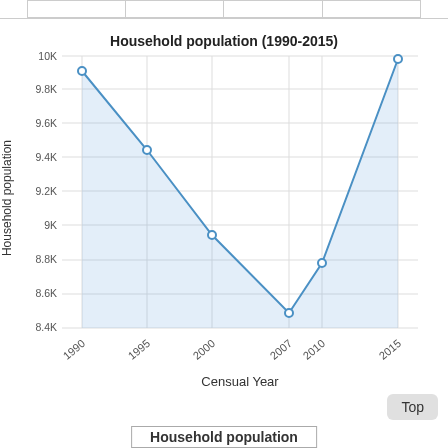[Figure (area-chart): Household population (1990-2015)]
Top
Household population